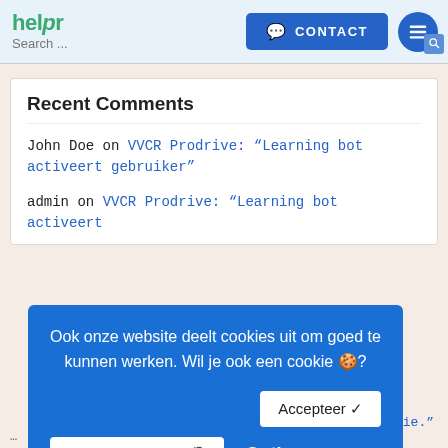helpr Search ... CONTACT
Recent Comments
John Doe on VVCR Prodrive: “Learning bot activeert gebruiker”
admin on VVCR Prodrive: “Learning bot activeert
Ook onze website deelt cookies uit om goed te kunnen werken. Wil je ook een cookie 🍪? Accepteer ✓ Ik wil geen cookie 🙅 Opties
…tijd relevantie.”